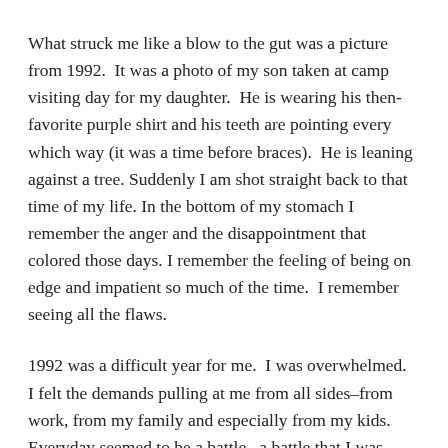What struck me like a blow to the gut was a picture from 1992.  It was a photo of my son taken at camp visiting day for my daughter.  He is wearing his then-favorite purple shirt and his teeth are pointing every which way (it was a time before braces).  He is leaning against a tree. Suddenly I am shot straight back to that time of my life. In the bottom of my stomach I remember the anger and the disappointment that colored those days. I remember the feeling of being on edge and impatient so much of the time.  I remember seeing all the flaws.
1992 was a difficult year for me.  I was overwhelmed.  I felt the demands pulling at me from all sides–from work, from my family and especially from my kids.  Everyday seemed to be a battle...a battle that I was losing. I was stressed and short-tempered all the time. I felt as if I was doing nothing well: I was giving only half the effort needed to overcome the challenges at work, failing as a parent and resenting the